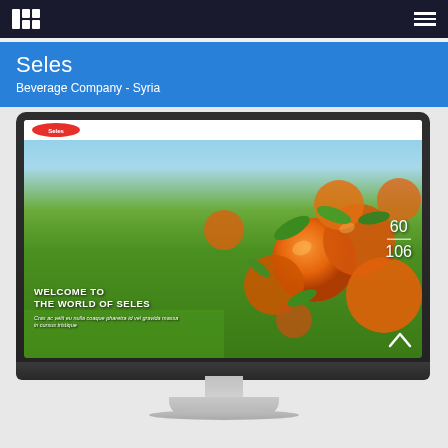Seles
Beverage Company - Syria
[Figure (screenshot): A desktop computer monitor displaying the Seles beverage company website. The website shows a hero image of orange fruits (mandarin/clementine) on a tree with lush green background. The overlay text reads 'WELCOME TO THE WORLD OF SELES' with italic lorem ipsum subtitle. A page number overlay shows 60/106. A white top bar with the Seles logo is visible. An up-arrow navigation element appears at bottom right of the screen.]